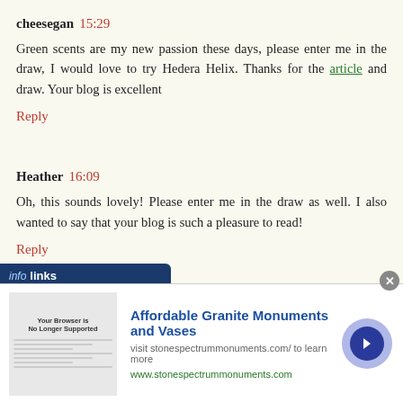cheesegan 15:29
Green scents are my new passion these days, please enter me in the draw, I would love to try Hedera Helix. Thanks for the article and draw. Your blog is excellent
Reply
Heather 16:09
Oh, this sounds lovely! Please enter me in the draw as well. I also wanted to say that your blog is such a pleasure to read!
Reply
[Figure (screenshot): Infolinks advertisement bar and partial comment header showing 'therine willis 16:12' with an ad for Affordable Granite Monuments and Vases from stonespectrummonuments.com]